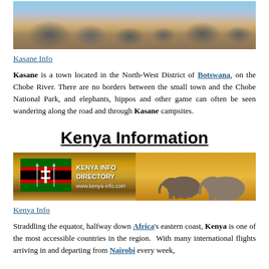[Figure (photo): Herd of elephants walking in dry savanna landscape with golden grass and trees in background]
Kasane Info
Kasane is a town located in the North-West District of Botswana, on the Chobe River. There are no borders between the small town and the Chobe National Park, and elephants, hippos and other game can often be seen wandering along the road and through Kasane campsites.
Kenya Information
[Figure (photo): Kenya Info Directory banner showing Kenyan flag on left and elephants walking in savanna at sunset on right, with text KENYA INFO DIRECTORY www.kenya-info.com]
Kenya Info
Straddling the equator, halfway down Africa's eastern coast, Kenya is one of the most accessible countries in the region. With many international flights arriving in and departing from Nairobi every week,